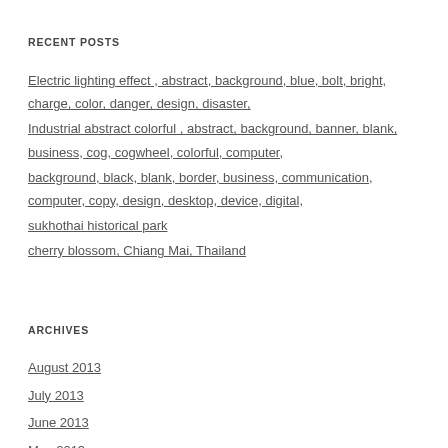RECENT POSTS
Electric lighting effect , abstract, background, blue, bolt, bright, charge, color, danger, design, disaster,
Industrial abstract colorful , abstract, background, banner, blank, business, cog, cogwheel, colorful, computer,
background, black, blank, border, business, communication, computer, copy, design, desktop, device, digital,
sukhothai historical park
cherry blossom, Chiang Mai, Thailand
ARCHIVES
August 2013
July 2013
June 2013
May 2013